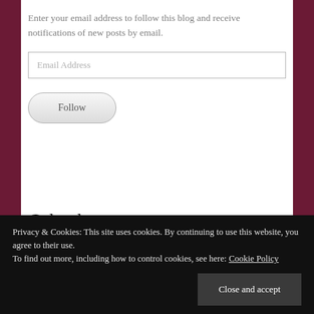Enter your email address to follow this blog and receive notifications of new posts by email.
Email Address
Follow
Calendar
Privacy & Cookies: This site uses cookies. By continuing to use this website, you agree to their use.
To find out more, including how to control cookies, see here: Cookie Policy
Close and accept